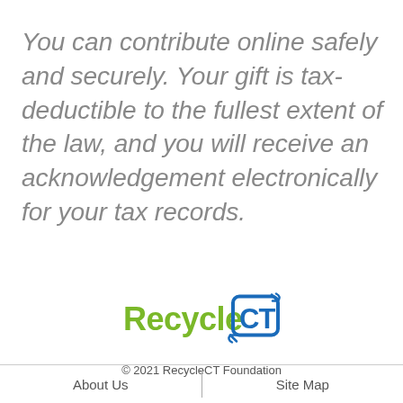You can contribute online safely and securely. Your gift is tax-deductible to the fullest extent of the law, and you will receive an acknowledgement electronically for your tax records.
[Figure (logo): RecycleCT logo — green 'Recycle' text with blue 'CT' in a rounded square with recycling arrows]
© 2021 RecycleCT Foundation
About Us | Site Map